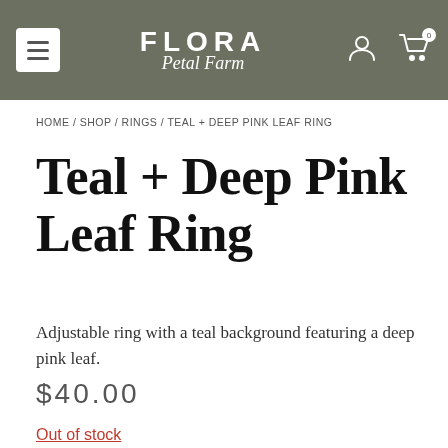FLORA Petal Farm
HOME / SHOP / RINGS / TEAL + DEEP PINK LEAF RING
Teal + Deep Pink Leaf Ring
Adjustable ring with a teal background featuring a deep pink leaf.
$40.00
Out of stock